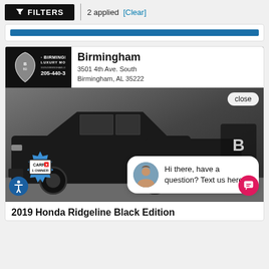FILTERS | 2 applied [Clear]
[Figure (screenshot): Partially visible car listing card with blue bar]
[Figure (photo): Birmingham Luxury Motors dealer banner with logo, phone 205-440-3239, address 3501 4th Ave. South Birmingham AL 35222, and a photo of a black Honda Ridgeline with a chat bubble overlay saying 'Hi there, have a question? Text us here', a close button, Carfax 1 Owner badge, and accessibility icon]
2019 Honda Ridgeline Black Edition